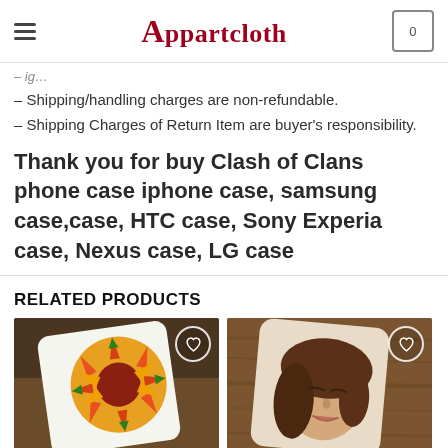Apparcloth
– Shipping/handling charges are non-refundable.
– Shipping Charges of Return Item are buyer's responsibility.
Thank you for buy Clash of Clans phone case iphone case, samsung case,case, HTC case, Sony Experia case, Nexus case, LG case
RELATED PRODUCTS
[Figure (photo): Phone case with colorful sunflower mandala design on wooden surface]
[Figure (photo): Phone case with illustrated girl face drawing on wood-grain surface]